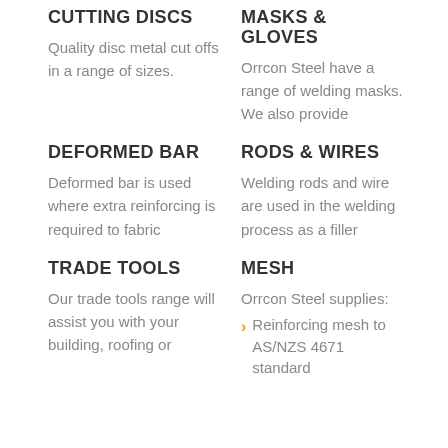CUTTING DISCS
Quality disc metal cut offs in a range of sizes.
MASKS & GLOVES
Orrcon Steel have a range of welding masks. We also provide
DEFORMED BAR
Deformed bar is used where extra reinforcing is required to fabric
RODS & WIRES
Welding rods and wire are used in the welding process as a filler
TRADE TOOLS
Our trade tools range will assist you with your building, roofing or
MESH
Orrcon Steel supplies:
Reinforcing mesh to AS/NZS 4671 standard